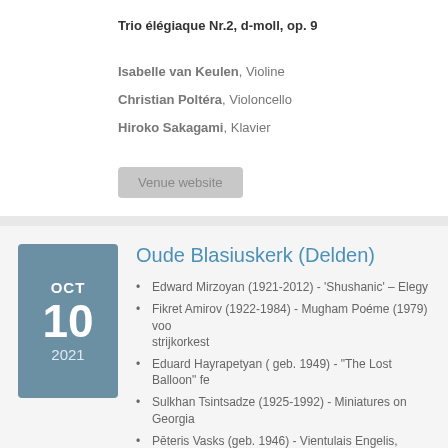Trio élégiaque Nr.2, d-moll, op. 9
Isabelle van Keulen, Violine
Christian Poltéra, Violoncello
Hiroko Sakagami, Klavier
Venue website
Oude Blasiuskerk (Delden)
Edward Mirzoyan (1921-2012) - 'Shushanic' – Elegy
Fikret Amirov (1922-1984) - Mugham Poéme (1979) voor strijkorkest
Eduard Hayrapetyan ( geb. 1949) - "The Lost Balloon" fe
Sulkhan Tsintsadze (1925-1992) - Miniatures on Georgia
Pēteris Vasks (geb. 1946) - Vientulais Engelis, Meditation strijkorkest
Fikret Amirov (1922-1984) - Symfonie voor strijkorkest